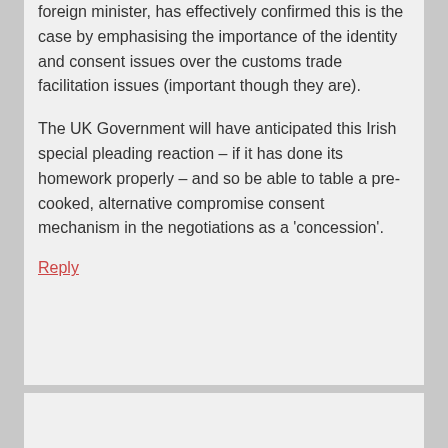foreign minister, has effectively confirmed this is the case by emphasising the importance of the identity and consent issues over the customs trade facilitation issues (important though they are).
The UK Government will have anticipated this Irish special pleading reaction – if it has done its homework properly – and so be able to table a pre-cooked, alternative compromise consent mechanism in the negotiations as a ‘concession’.
Reply